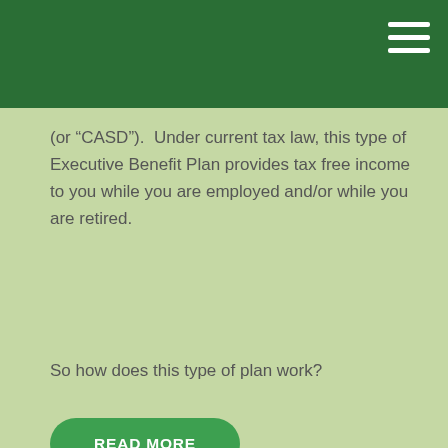(or “CASD”).  Under current tax law, this type of Executive Benefit Plan provides tax free income to you while you are employed and/or while you are retired.
So how does this type of plan work?
READ MORE
THE SHEETER GROUP